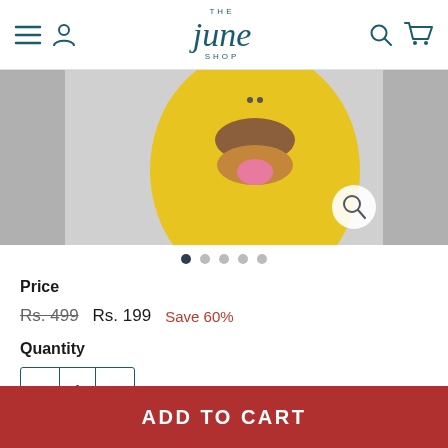[Figure (logo): The June Shop logo — stylized italic serif 'june' text with 'THE' above and 'SHOP' below in teal/dark teal color]
[Figure (photo): Product image showing a yellow cartoon face/mask character with a brown mustache and tongue sticking out, on a gray background. Image carousel with navigation dots below.]
Price
Rs. 499   Rs. 199   Save 60%
Quantity
- 1 +
ADD TO CART